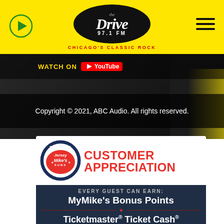[Figure (logo): The Drive 97.1 FM Chicago's Classic Rock radio station logo in yellow header bar with play button and hamburger menu]
Watch on YouTube
Copyright © 2021, ABC Audio. All rights reserved.
[Figure (infographic): Jersey Mike's Customer Appreciation advertisement showing MyMike's Bonus Points, Ticketmaster® Ticket Cash®, and JM Swag & Gift Cards]
Ticketmaster and Ticket Cash are trademarks of